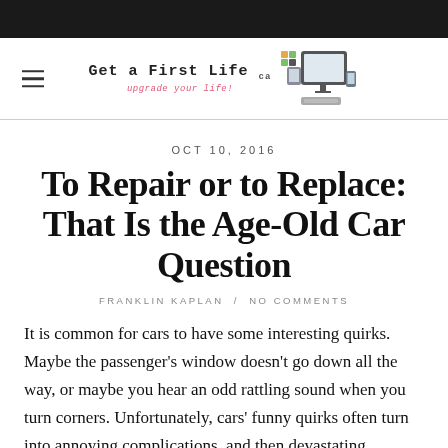[Figure (logo): Get A First Life logo with stylized text and laptop/desk illustration icons]
OCT 10, 2016
To Repair or to Replace: That Is the Age-Old Car Question
FRANKLIN KAPLAN / NO COMMENTS
It is common for cars to have some interesting quirks. Maybe the passenger's window doesn't go down all the way, or maybe you hear an odd rattling sound when you turn corners. Unfortunately, cars' funny quirks often turn into annoying complications, and then devastating problems. A